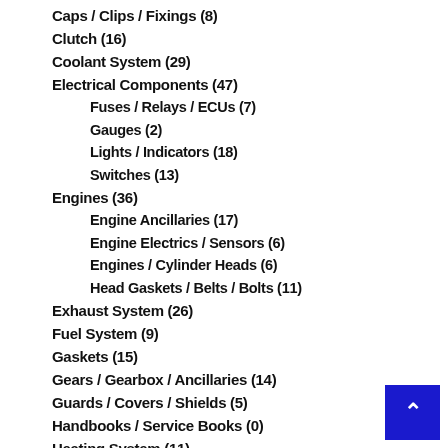Caps / Clips / Fixings (8)
Clutch (16)
Coolant System (29)
Electrical Components (47)
Fuses / Relays / ECUs (7)
Gauges (2)
Lights / Indicators (18)
Switches (13)
Engines (36)
Engine Ancillaries (17)
Engine Electrics / Sensors (6)
Engines / Cylinder Heads (6)
Head Gaskets / Belts / Bolts (11)
Exhaust System (26)
Fuel System (9)
Gaskets (15)
Gears / Gearbox / Ancillaries (14)
Guards / Covers / Shields (5)
Handbooks / Service Books (0)
Heating System (11)